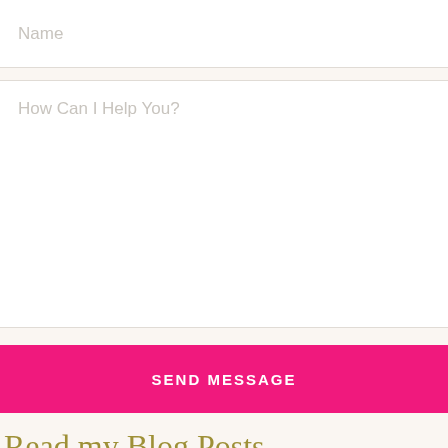Name
How Can I Help You?
SEND MESSAGE
Read my Blog Posts...
[Figure (photo): Broken image placeholder at bottom of page]